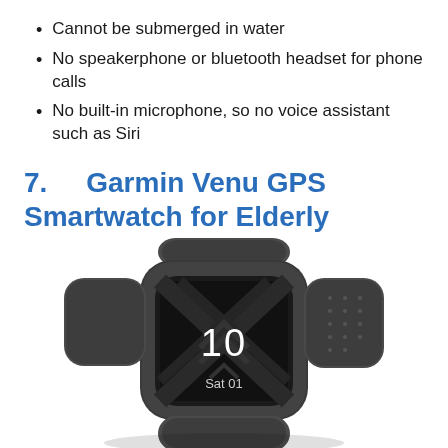Cannot be submerged in water
No speakerphone or bluetooth headset for phone calls
No built-in microphone, so no voice assistant such as Siri
7.   Garmin Venu GPS Smartwatch for Elderly individuals
[Figure (photo): Garmin Venu GPS smartwatch with dark gray/graphite case and silicone band, showing clock face with time '10' and date 'Sat 01', viewed from a slightly elevated angle]